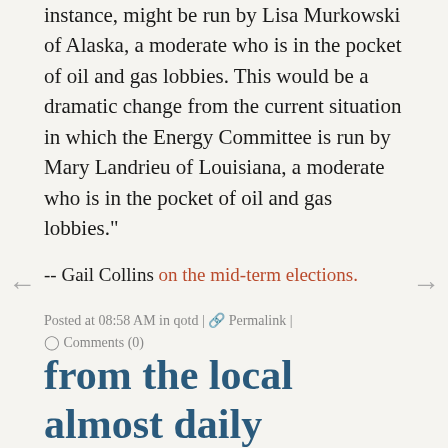instance, might be run by Lisa Murkowski of Alaska, a moderate who is in the pocket of oil and gas lobbies. This would be a dramatic change from the current situation in which the Energy Committee is run by Mary Landrieu of Louisiana, a moderate who is in the pocket of oil and gas lobbies."
-- Gail Collins on the mid-term elections.
Posted at 08:58 AM in qotd | Permalink | Comments (0)
from the local almost daily